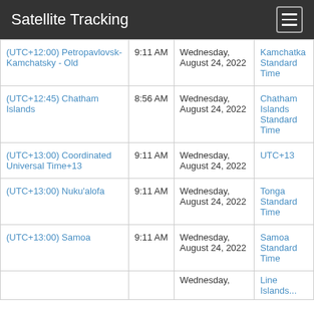Satellite Tracking
|  |  |  |  |
| --- | --- | --- | --- |
| (UTC+12:00) Petropavlovsk-Kamchatsky - Old | 9:11 AM | Wednesday, August 24, 2022 | Kamchatka Standard Time |
| (UTC+12:45) Chatham Islands | 8:56 AM | Wednesday, August 24, 2022 | Chatham Islands Standard Time |
| (UTC+13:00) Coordinated Universal Time+13 | 9:11 AM | Wednesday, August 24, 2022 | UTC+13 |
| (UTC+13:00) Nuku'alofa | 9:11 AM | Wednesday, August 24, 2022 | Tonga Standard Time |
| (UTC+13:00) Samoa | 9:11 AM | Wednesday, August 24, 2022 | Samoa Standard Time |
| (partial row) |  | Wednesday,... | Line Islands... |